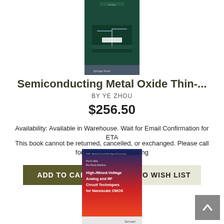[Figure (photo): Book cover of Semiconducting Metal Oxide Thin- by Ye Zhou, dark teal/green cover with circuit diagram illustration, Springer publisher]
Semiconducting Metal Oxide Thin-...
BY YE ZHOU
$256.50
Availability: Available in Warehouse. Wait for Email Confirmation for ETA
This book cannot be returned, cancelled, or exchanged. Please call for availability and pricing
ADD TO CART
ADD TO WISH LIST
[Figure (photo): Book cover of High-/Mixed-Voltage Analog and RF Circuit Techniques for Nanoscale CMOS by Pui-In Mak and Rui Paulo Martins, red and blue cover, Springer publisher]